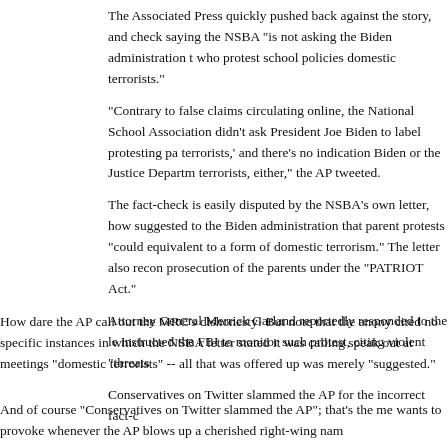The Associated Press quickly pushed back against the story, and check saying the NSBA "is not asking the Biden administration t who protest school policies domestic terrorists."
“Contrary to false claims circulating online, the National School Association didn’t ask President Joe Biden to label protesting pa terrorists,’ and there’s no indication Biden or the Justice Departm terrorists, either,” the AP tweeted.
The fact-check is easily disputed by the NSBA’s own letter, how suggested to the Biden administration that parent protests "could equivalent to a form of domestic terrorism." The letter also recon prosecution of the parents under the "PATRIOT Act."
Attorney General Merrick Garland reportedly responded to the le instructed the FBI to monitor such protest, citing violent "threats
Conservatives on Twitter slammed the AP for the incorrect fact-c
How dare the AP call out the MRC’s dishonesty! But note that the anony cited no specific instances in which the NSBA letter stated it was calling speak out at meetings "domestic terrorists" -- all that was offered up was merely "suggested."
And of course "Conservatives on Twitter slammed the AP"; that’s the me wants to provoke whenever the AP blows up a cherished right-wing nam